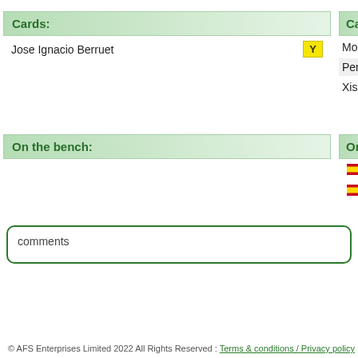Cards:
Jose Ignacio Berruet  Y
Cards:
Moran V
Pereira A
Xisco
On the bench:
On the b
Em (Spain flag)
Xis (Spain flag)
comments
© AFS Enterprises Limited 2022 All Rights Reserved : Terms & conditions / Privacy policy